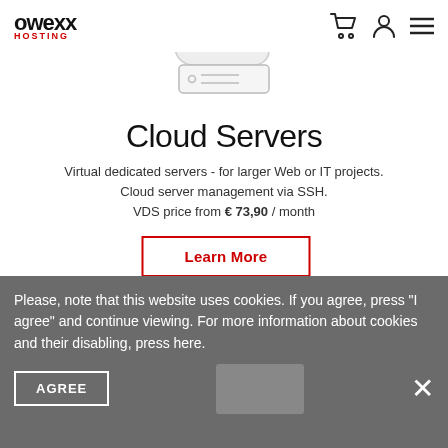[Figure (logo): Owexx Hosting logo - bold black text with red HOSTING subtitle]
[Figure (illustration): Cloud server icon - outline drawing of a cloud with a server/laptop shape beneath it]
Cloud Servers
Virtual dedicated servers - for larger Web or IT projects. Cloud server management via SSH. VDS price from € 73,90 / month
Learn More
Please, note that this website uses cookies. If you agree, press "I agree" and continue viewing. For more information about cookies and their disabling, press here.
AGREE